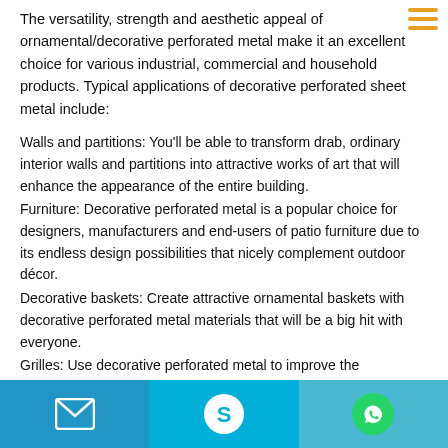The versatility, strength and aesthetic appeal of ornamental/decorative perforated metal make it an excellent choice for various industrial, commercial and household products. Typical applications of decorative perforated sheet metal include:
Walls and partitions: You'll be able to transform drab, ordinary interior walls and partitions into attractive works of art that will enhance the appearance of the entire building.
Furniture: Decorative perforated metal is a popular choice for designers, manufacturers and end-users of patio furniture due to its endless design possibilities that nicely complement outdoor décor.
Decorative baskets: Create attractive ornamental baskets with decorative perforated metal materials that will be a big hit with everyone.
Grilles: Use decorative perforated metal to improve the appearance of speaker grilles without detracting from sound quality and performance.
Screens and vents: Ornamental metal will convert screens and vents from architectural design liabilities to features that add aesthetic appeal to the
Email | Skype | WhatsApp